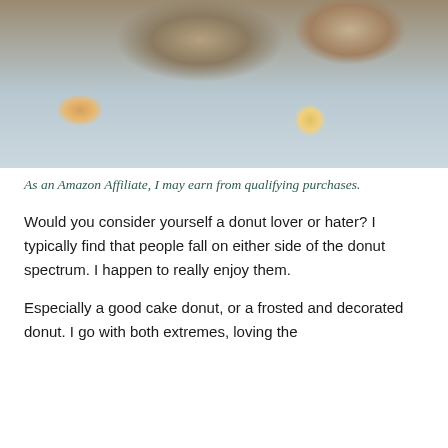[Figure (photo): Close-up photo of a crumble-topped cake donut on a light surface, with crumbs scattered around]
As an Amazon Affiliate, I may earn from qualifying purchases.
Would you consider yourself a donut lover or hater? I typically find that people fall on either side of the donut spectrum. I happen to really enjoy them.
Especially a good cake donut, or a frosted and decorated donut. I go with both extremes, loving the